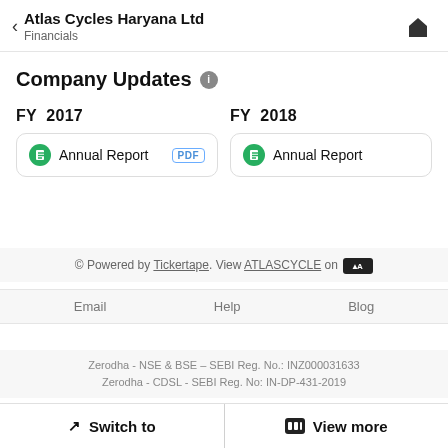Atlas Cycles Haryana Ltd — Financials
Company Updates
FY 2017
Annual Report PDF
FY 2018
Annual Report
© Powered by Tickertape. View ATLASCYCLE on [TradingView logo]
Email   Help   Blog
Zerodha - NSE & BSE – SEBI Reg. No.: INZ000031633
Zerodha - CDSL - SEBI Reg. No: IN-DP-431-2019
Switch to   View more